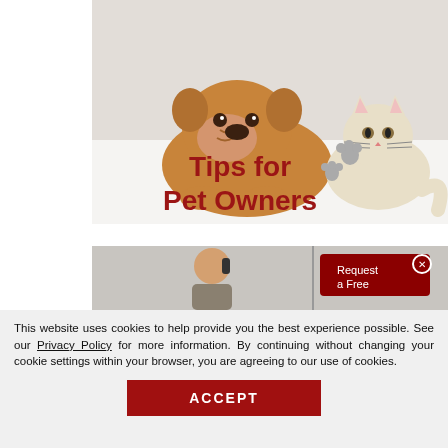[Figure (photo): Photo of a bulldog and a cat lying side by side with text overlay 'Tips for Pet Owners' in dark red bold font, with grey paw print decorations]
[Figure (screenshot): Partial screenshot showing a person on a phone call and a dark red popup overlay saying 'Request a Free' with a white close button]
This website uses cookies to help provide you the best experience possible. See our Privacy Policy for more information. By continuing without changing your cookie settings within your browser, you are agreeing to our use of cookies.
ACCEPT